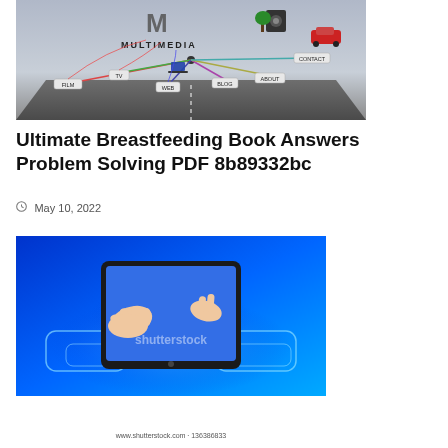[Figure (illustration): Multimedia mind-map image with the word MULTIMEDIA in 3D letters, connected nodes labeled FILM, TV, WEB, BLOG, ABOUT, CONTACT, with various media elements like a laptop, speakers, car, tree.]
Ultimate Breastfeeding Book Answers Problem Solving PDF 8b89332bc
May 10, 2022
[Figure (photo): Hands touching a tablet device on a glowing blue digital background. Shutterstock watermark visible.]
www.shutterstock.com · 136386833